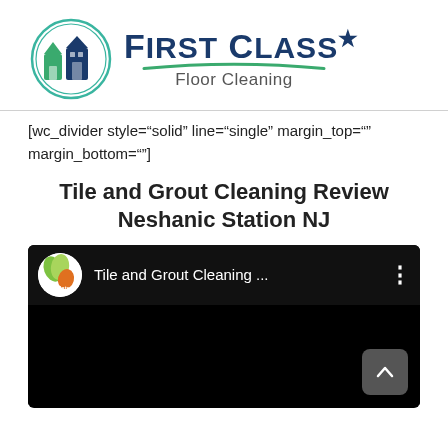[Figure (logo): First Class Floor Cleaning logo with circular icon showing house/buildings in blue/green and text 'First Class Floor Cleaning']
[wc_divider style="solid" line="single" margin_top="" margin_bottom=""]
Tile and Grout Cleaning Review Neshanic Station NJ
[Figure (screenshot): YouTube video player screenshot showing 'Tile and Grout Cleaning ...' video with AllSlates channel icon, black video area, and scroll-up button in bottom right]